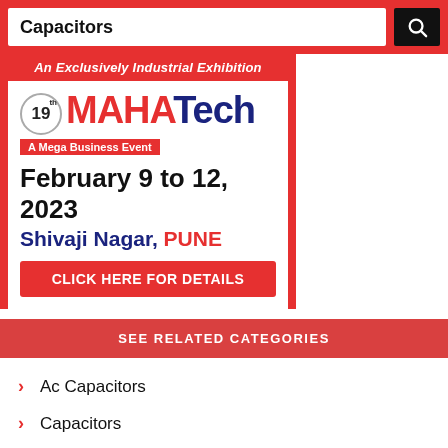Capacitors
[Figure (illustration): MAHATech 19th edition advertisement banner. An Exclusively Industrial Exhibition. February 9 to 12, 2023. Shivaji Nagar, PUNE. A Mega Business Event. CLICK HERE FOR DETAILS.]
SEE RELATED CATEGORIES
Ac Capacitors
Capacitors
Dc Capacitors